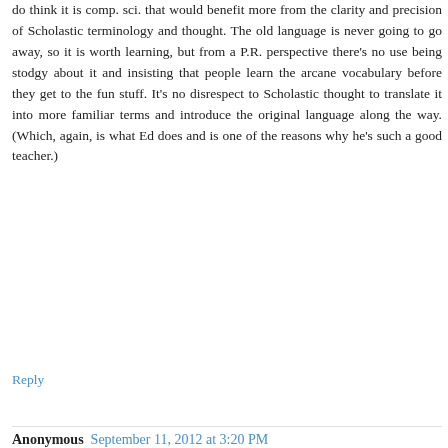do think it is comp. sci. that would benefit more from the clarity and precision of Scholastic terminology and thought. The old language is never going to go away, so it is worth learning, but from a P.R. perspective there's no use being stodgy about it and insisting that people learn the arcane vocabulary before they get to the fun stuff. It's no disrespect to Scholastic thought to translate it into more familiar terms and introduce the original language along the way. (Which, again, is what Ed does and is one of the reasons why he's such a good teacher.)
Reply
Anonymous  September 11, 2012 at 3:20 PM
Ann O.: There are, I think, problems with the A=T theory of accidents posed by contemporary science, but the fundamental notion is a very useful one, very descriptive of important facets of things.
Yes, and certainly one needs to be taught the technical meaning of "accident", just as one needs to be taught the technical way physicists use the term "light" (and in both